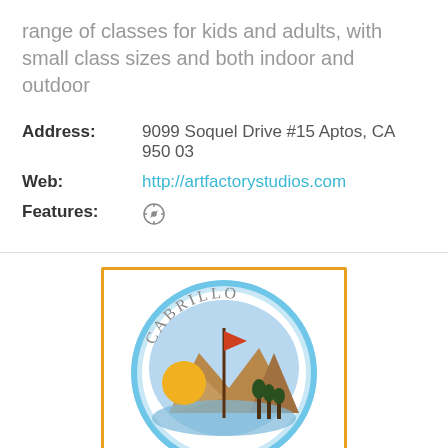range of classes for kids and adults, with small class sizes and both indoor and outdoor
| Address: | 9099 Soquel Drive #15 Aptos, CA 950 03 |
| Web: | http://artfactorystudios.com |
| Features: | compass icon |
[Figure (logo): Cabrillo College circular logo with mountains, water, and flag in watercolor style with text CABRILLO arched at top]